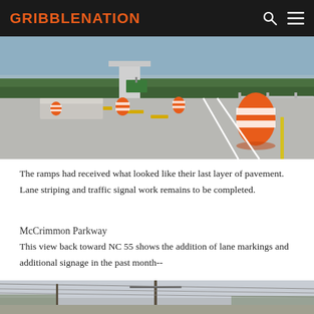GRIBBLENATION
[Figure (photo): Road construction zone with orange barrels/barricades, concrete barriers, yellow center line markings, and trees in background under a blue-grey sky.]
The ramps had received what looked like their last layer of pavement. Lane striping and traffic signal work remains to be completed.
McCrimmon Parkway
This view back toward NC 55 shows the addition of lane markings and additional signage in the past month--
[Figure (photo): Street-level view of McCrimmon Parkway looking toward NC 55, showing utility poles, power lines, and road construction area under a hazy sky.]